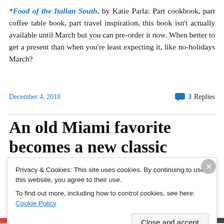*Food of the Italian South, by Katie Parla: Part cookbook, part coffee table book, part travel inspiration, this book isn't actually available until March but you can pre-order it now. When better to get a present than when you're least expecting it, like no-holidays March?
December 4, 2018   💬 3 Replies
An old Miami favorite becomes a new classic
Privacy & Cookies: This site uses cookies. By continuing to use this website, you agree to their use.
To find out more, including how to control cookies, see here: Cookie Policy
Close and accept